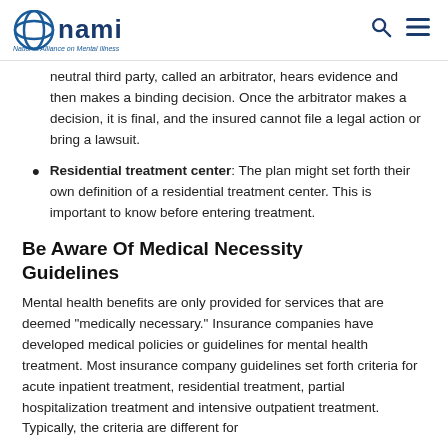NAMI - National Alliance on Mental Illness
neutral third party, called an arbitrator, hears evidence and then makes a binding decision. Once the arbitrator makes a decision, it is final, and the insured cannot file a legal action or bring a lawsuit.
Residential treatment center: The plan might set forth their own definition of a residential treatment center. This is important to know before entering treatment.
Be Aware Of Medical Necessity Guidelines
Mental health benefits are only provided for services that are deemed “medically necessary.” Insurance companies have developed medical policies or guidelines for mental health treatment. Most insurance company guidelines set forth criteria for acute inpatient treatment, residential treatment, partial hospitalization treatment and intensive outpatient treatment. Typically, the criteria are different for